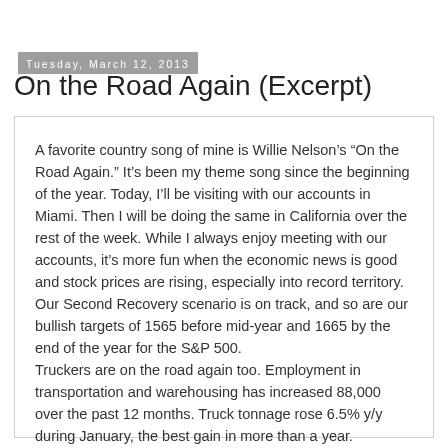Tuesday, March 12, 2013
On the Road Again (Excerpt)
A favorite country song of mine is Willie Nelson’s “On the Road Again.” It’s been my theme song since the beginning of the year. Today, I’ll be visiting with our accounts in Miami. Then I will be doing the same in California over the rest of the week. While I always enjoy meeting with our accounts, it’s more fun when the economic news is good and stock prices are rising, especially into record territory. Our Second Recovery scenario is on track, and so are our bullish targets of 1565 before mid-year and 1665 by the end of the year for the S&P 500.
Truckers are on the road again too. Employment in transportation and warehousing has increased 88,000 over the past 12 months. Truck tonnage rose 6.5% y/y during January, the best gain in more than a year.
The “Dow Theory” paradigm remains bullish as both the DJIT and S&P 500 Transportation Index are making new record highs. The latest earnings and valuation metrics for the S&P 500 Transportation sector show forward revenues and earnings are at record highs.